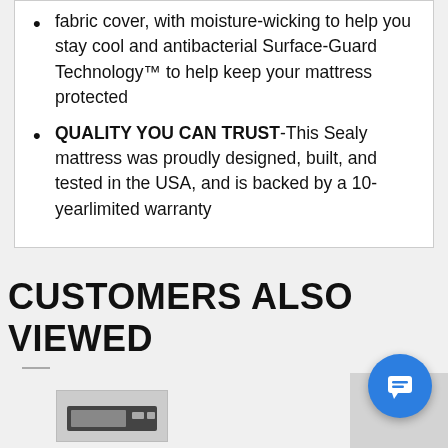fabric cover, with moisture-wicking to help you stay cool and antibacterial Surface-Guard Technology™ to help keep your mattress protected
QUALITY YOU CAN TRUST-This Sealy mattress was proudly designed, built, and tested in the USA, and is backed by a 10-yearlimited warranty
CUSTOMERS ALSO VIEWED
[Figure (photo): Product image of a mattress/appliance shown at the bottom of the page]
[Figure (other): Blue circular chat button with message icon overlay on grey rectangle]